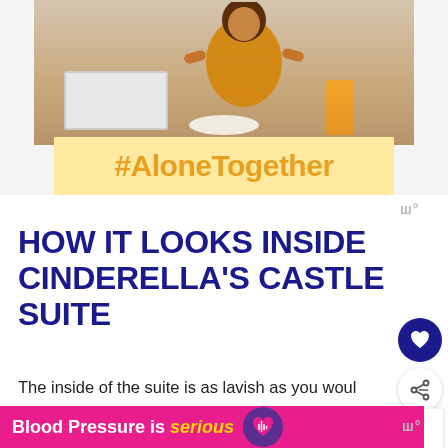[Figure (photo): Person in yellow shirt eating at a table with laptop and orange juice, with a #AloneTogether banner overlaid on the bottom portion]
HOW IT LOOKS INSIDE CINDERELLA'S CASTLE SUITE
The inside of the suite is as lavish as you would imagine it would be. First, let's cover how inside the castle suite. You will need a special key to the World Card to unlock at the elevator that w
[Figure (infographic): WHAT'S NEXT → Cinderella's Castle is... thumbnail panel]
[Figure (infographic): Blood Pressure is serious advertisement banner with purple heart icon]